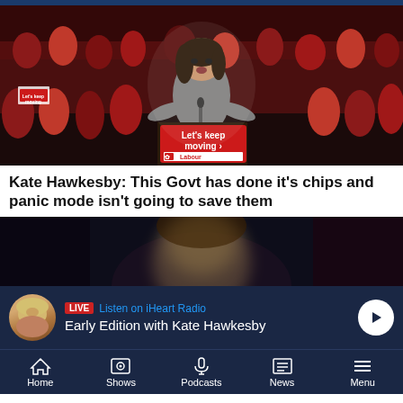[Figure (photo): Woman speaking at a Labour Party event podium with 'Let's keep moving' and 'Labour' signage, crowd of supporters in red shirts behind her]
Kate Hawkesby: This Govt has done it's chips and panic mode isn't going to save them
[Figure (photo): Blurred dark close-up photo, partial face visible]
LIVE  Listen on iHeart Radio
Early Edition with Kate Hawkesby